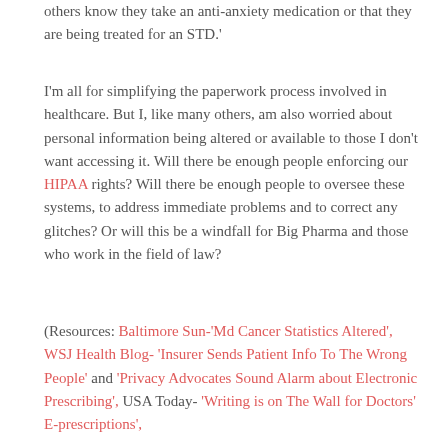others know they take an anti-anxiety medication or that they are being treated for an STD.
I'm all for simplifying the paperwork process involved in healthcare. But I, like many others, am also worried about personal information being altered or available to those I don't want accessing it. Will there be enough people enforcing our HIPAA rights? Will there be enough people to oversee these systems, to address immediate problems and to correct any glitches? Or will this be a windfall for Big Pharma and those who work in the field of law?
(Resources: Baltimore Sun-'Md Cancer Statistics Altered', WSJ Health Blog- 'Insurer Sends Patient Info To The Wrong People' and 'Privacy Advocates Sound Alarm about Electronic Prescribing', USA Today- 'Writing is on The Wall for Doctors' E-prescriptions',